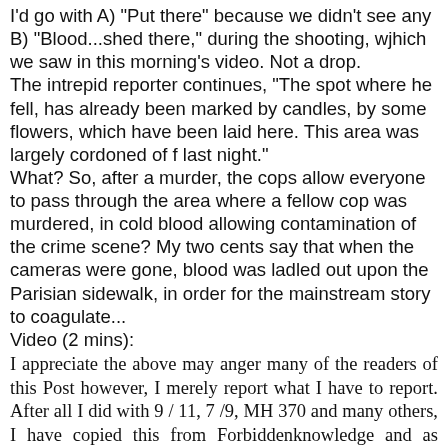I'd go with A) "Put there" because we didn't see any B) "Blood...shed there," during the shooting, wjhich we saw in this morning's video. Not a drop.
The intrepid reporter continues, "The spot where he fell, has already been marked by candles, by some flowers, which have been laid here. This area was largely cordoned of f last night."
What? So, after a murder, the cops allow everyone to pass through the area where a fellow cop was murdered, in cold blood allowing contamination of the crime scene? My two cents say that when the cameras were gone, blood was ladled out upon the Parisian sidewalk, in order for the mainstream story to coagulate...
Video (2 mins):
I appreciate the above may anger many of the readers of this Post however, I merely report what I have to report. After all I did with 9 / 11, 7 /9, MH 370 and many others, I have copied this from Forbiddenknowledge and as usual it